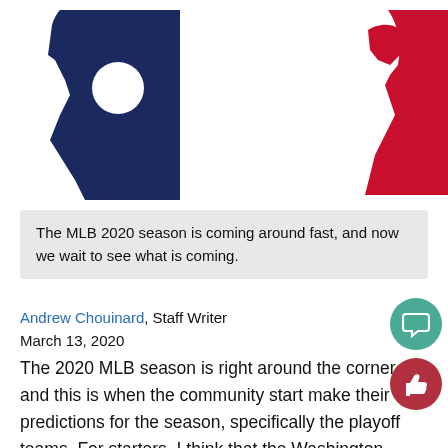[Figure (logo): MLB logo split — left side shows dark navy silhouette with white circle (batter), right side shows red silhouette (fielder)]
The MLB 2020 season is coming around fast, and now we wait to see what is coming.
Andrew Chouinard, Staff Writer
March 13, 2020
The 2020 MLB season is right around the corner, and this is when the community start make their predictions for the season, specifically the playoff teams. For starters, I think that the Washington Nationals will return to the playoffs but won't go all the way to the World Series. With the loss of Anthony Rendon, who helped lead them to the World Series, they probably won't go all the way. Also, returning to the playoffs will